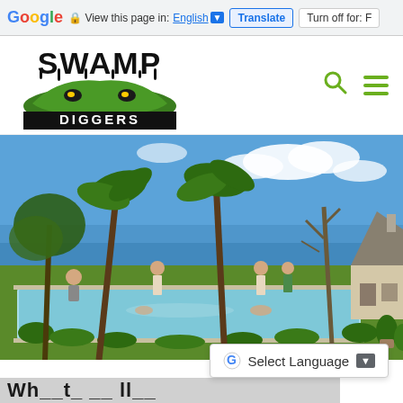Google Translate bar — View this page in: English | Translate | Turn off for: F
[Figure (logo): Swamp Diggers website logo — stylized dripping horror text 'SWAMP' in black over a green monster/swamp creature illustration, with 'DIGGERS' in block letters on a dark band below]
[Figure (photo): Tropical outdoor swimming pool scene with palm trees, ocean view, blue sky with clouds, people swimming and standing around the pool, thatched-roof cottage on the right]
Select Language
Partial bold headline text at bottom (cut off)